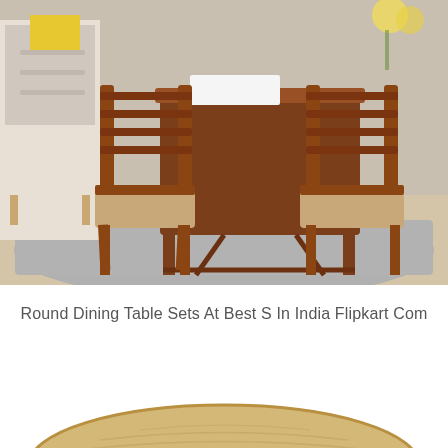[Figure (photo): A wooden dining table set with two chairs with cushioned seats, placed on a grey rug in a room setting. The chairs and table are made of warm-toned brown wood with horizontal slat backrests.]
Round Dining Table Sets At Best S In India Flipkart Com
[Figure (photo): Partial view of a round light-colored wooden table top, visible from above at the bottom of the page.]